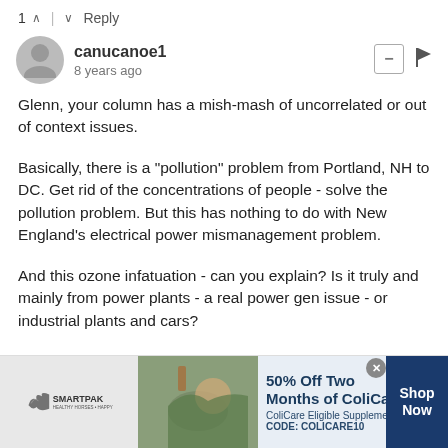1 ∧ | ∨ Reply
canucanoe1
8 years ago
Glenn, your column has a mish-mash of uncorrelated or out of context issues.
Basically, there is a "pollution" problem from Portland, NH to DC. Get rid of the concentrations of people - solve the pollution problem. But this has nothing to do with New England's electrical power mismanagement problem.
And this ozone infatuation - can you explain? Is it truly and mainly from power plants - a real power gen issue - or industrial plants and cars?
We see that New England has totally screwed up its long term generation and distribution. Like... the huge subsidies it paid for future "green" generated electricity while pissin' on
[Figure (infographic): SmartPak advertisement banner: 50% Off Two Months of ColiCare, ColiCare Eligible Supplements, CODE: COLICARE10, Shop Now button]